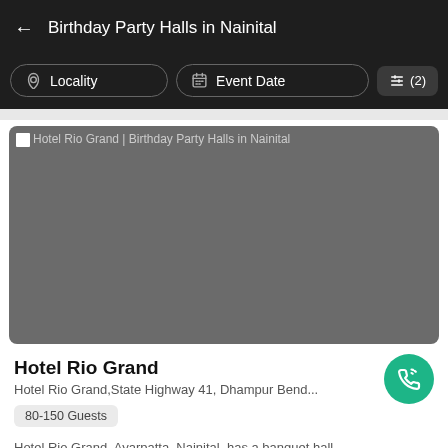Birthday Party Halls in Nainital
Locality
Event Date
(2)
[Figure (photo): Hotel Rio Grand | Birthday Party Halls in Nainital — venue image placeholder, grey rectangle]
Hotel Rio Grand
Hotel Rio Grand,State Highway 41, Dhampur Bend...
80-150 Guests
Hotel Rio Grand, Ayarpatta, Nainital, has a banquet hall...